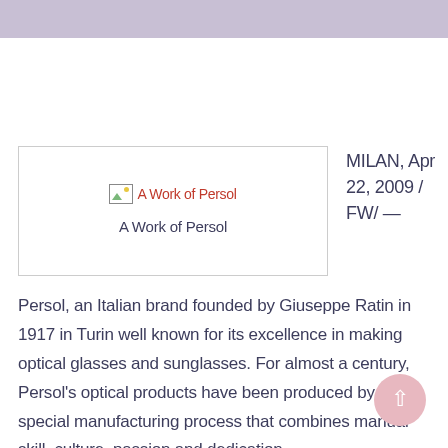[Figure (other): Image thumbnail placeholder labeled 'A Work of Persol' with broken image icon and red alt text, in a bordered box]
A Work of Persol
MILAN, Apr 22, 2009 / FW/ —
Persol, an Italian brand founded by Giuseppe Ratin in 1917 in Turin well known for its excellence in making optical glasses and sunglasses. For almost a century, Persol's optical products have been produced by a special manufacturing process that combines manual skill, culture, passion and dedication.